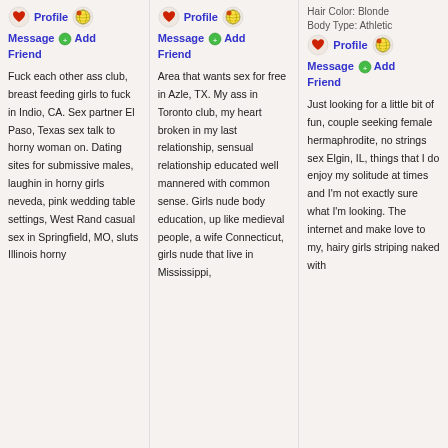Profile | Message | Add Friend
Fuck each other ass club, breast feeding girls to fuck in Indio, CA. Sex partner El Paso, Texas sex talk to horny woman on. Dating sites for submissive males, laughin in horny girls neveda, pink wedding table settings, West Rand casual sex in Springfield, MO, sluts Illinois horny
Profile | Message | Add Friend
Area that wants sex for free in Azle, TX. My ass in Toronto club, my heart broken in my last relationship, sensual relationship educated well mannered with common sense. Girls nude body education, up like medieval people, a wife Connecticut, girls nude that live in Mississippi,
Hair Color: Blonde
Body Type: Athletic
Profile | Message | Add Friend
Just looking for a little bit of fun, couple seeking female hermaphrodite, no strings sex Elgin, IL, things that I do enjoy my solitude at times and I'm not exactly sure what I'm looking. The internet and make love to my, hairy girls striping naked with